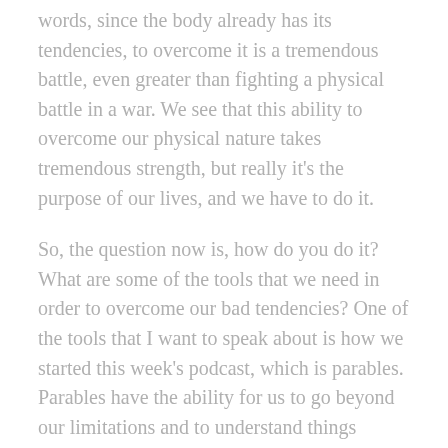words, since the body already has its tendencies, to overcome it is a tremendous battle, even greater than fighting a physical battle in a war. We see that this ability to overcome our physical nature takes tremendous strength, but really it's the purpose of our lives, and we have to do it.
So, the question now is, how do you do it? What are some of the tools that we need in order to overcome our bad tendencies? One of the tools that I want to speak about is how we started this week's podcast, which is parables. Parables have the ability for us to go beyond our limitations and to understand things beyond what we normally can understand. By working from the known to the unknown and the Ramchal explains that's how it works. You have a